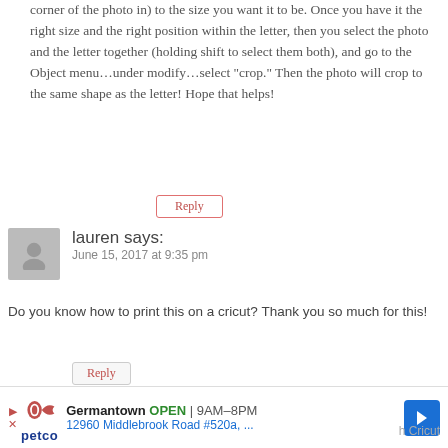corner of the photo in) to the size you want it to be. Once you have it the right size and the right position within the letter, then you select the photo and the letter together (holding shift to select them both), and go to the Object menu…under modify…select "crop." Then the photo will crop to the same shape as the letter! Hope that helps!
Reply
lauren says:
June 15, 2017 at 9:35 pm
Do you know how to print this on a cricut? Thank you so much for this!
Reply
Meredith says:
June 16, 2017 at 8:16 am
[Figure (infographic): Petco advertisement banner showing store location in Germantown, OPEN 9AM-8PM, address 12960 Middlebrook Road #520a with navigation arrow icon]